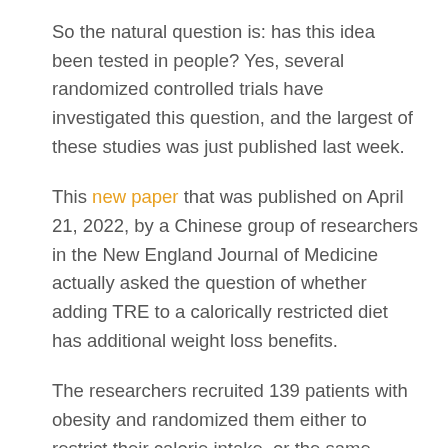So the natural question is: has this idea been tested in people? Yes, several randomized controlled trials have investigated this question, and the largest of these studies was just published last week.
This new paper that was published on April 21, 2022, by a Chinese group of researchers in the New England Journal of Medicine actually asked the question of whether adding TRE to a calorically restricted diet has additional weight loss benefits.
The researchers recruited 139 patients with obesity and randomized them either to restrict their calorie intake, or the same calorie restriction in addition to 8/16 TRE where all calories had to be consumed over just 8 hours. Both groups were told to reduce their daily